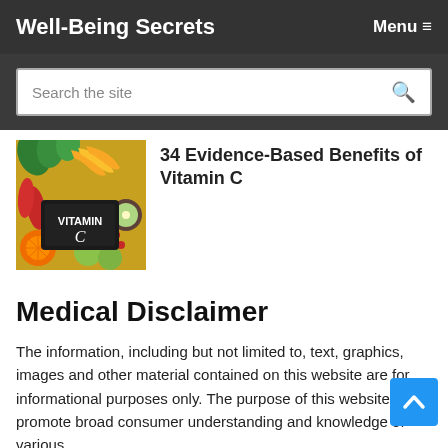Well-Being Secrets    Menu ≡
Search the site
[Figure (photo): A colorful array of fruits and vegetables with a chalkboard sign reading VITAMIN C]
34 Evidence-Based Benefits of Vitamin C
Medical Disclaimer
The information, including but not limited to, text, graphics, images and other material contained on this website are for informational purposes only. The purpose of this website is to promote broad consumer understanding and knowledge of various